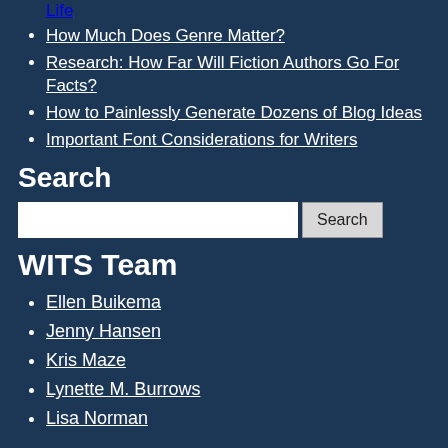Life
How Much Does Genre Matter?
Research: How Far Will Fiction Authors Go For Facts?
How to Painlessly Generate Dozens of Blog Ideas
Important Font Considerations for Writers
Search
WITS Team
Ellen Buikema
Jenny Hansen
Kris Maze
Lynette M. Burrows
Lisa Norman